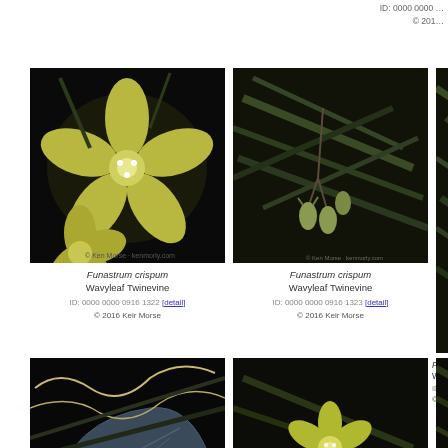ID: 0000 0000 ... © 201...
[Figure (photo): Close-up photo of Funastrum crispum flower, yellow-green star-shaped petals on black background]
Funastrum crispum Wavyleaf Twinevine ID: 0000 0000 0916 1322 [detail] © 2016 Keir Morse
[Figure (photo): Photo of Funastrum crispum buds/flowers hanging on dark plant stems]
Funastrum crispum Wavyleaf Twinevine ID: 0000 0000 0916 1323 [detail] © 2016 Keir Morse
[Figure (photo): Partial photo of Funastrum crispum on dark background, cut off on right]
Funas... Wavyle... ID: 0000 000... © 201...
[Figure (photo): Photo of Funastrum crispum leaves on black background]
Funastrum crispum Wavyleaf Twinevine
[Figure (photo): Photo of Funastrum crispum flower cluster on dark background]
Funastrum crispum Wavyleaf Twinevine
[Figure (photo): Partial photo of Funastrum crispum on right edge, cut off]
Funas... Wavyle...